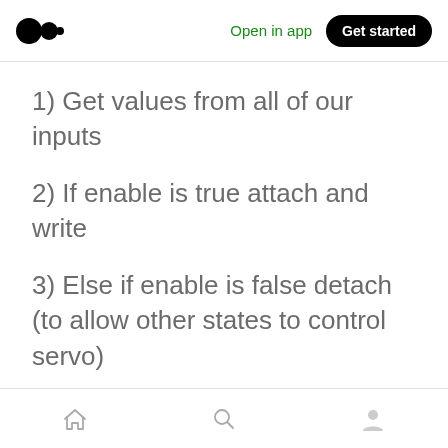Open in app | Get started
1) Get values from all of our inputs
2) If enable is true attach and write
3) Else if enable is false detach (to allow other states to control servo)
Home | Search | Profile